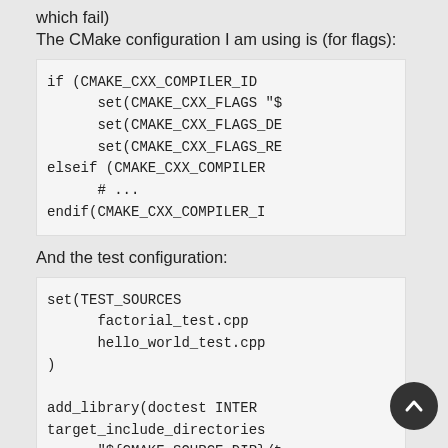which fail)
The CMake configuration I am using is (for flags):
if (CMAKE_CXX_COMPILER_ID
        set(CMAKE_CXX_FLAGS "$
        set(CMAKE_CXX_FLAGS_DE
        set(CMAKE_CXX_FLAGS_RE
elseif (CMAKE_CXX_COMPILER
        # ...
endif(CMAKE_CXX_COMPILER_I
And the test configuration:
set(TEST_SOURCES
        factorial_test.cpp
        hello_world_test.cpp
)

add_library(doctest INTER
target_include_directories
        "${CMAKE_SOURCE_DIR}/t